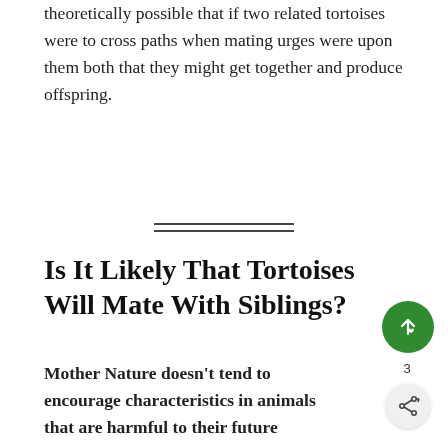theoretically possible that if two related tortoises were to cross paths when mating urges were upon them both that they might get together and produce offspring.
[Figure (other): Horizontal double-line divider]
Is It Likely That Tortoises Will Mate With Siblings?
Mother Nature doesn't tend to encourage characteristics in animals that are harmful to their future development and while it's fair to say that, as we will see, some incestuous reproduction in reptiles appears to be less damaging than it is in mammals, it is not entirely a good idea, either.